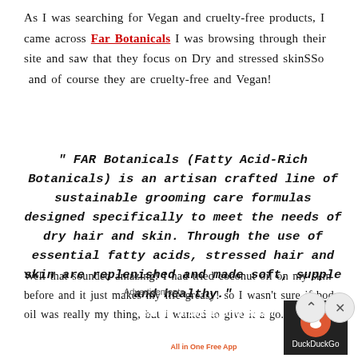As I was searching for Vegan and cruelty-free products, I came across Far Botanicals I was browsing through their site and saw that they focus on Dry and stressed skinSSo and of course they are cruelty-free and Vegan!
" FAR Botanicals (Fatty Acid-Rich Botanicals) is an artisan crafted line of sustainable grooming care formulas designed specifically to meet the needs of dry hair and skin. Through the use of essential fatty acids, stressed hair and skin are replenished and made soft, supple and healthy."
Well that sounded amazing! I had tried coconut oil on my skin before and it just makes my life greasy! so I wasn't sure if body oil was really my thing, but I wanted to give it a go...
Advertisements
[Figure (other): DuckDuckGo advertisement banner: orange background with text 'Search, browse, and email with more privacy. All in One Free App' and DuckDuckGo logo on dark background]